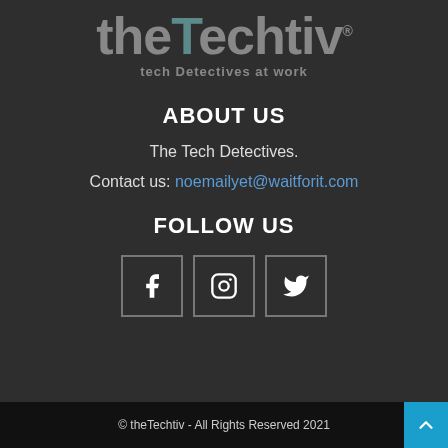[Figure (logo): theTechtiv logo with tagline 'tech Detectives at work']
ABOUT US
The Tech Detectives.
Contact us: noemailyet@waitforit.com
FOLLOW US
[Figure (illustration): Three social media icon boxes: Facebook, Instagram, Twitter]
© theTechtiv - All Rights Reserved 2021